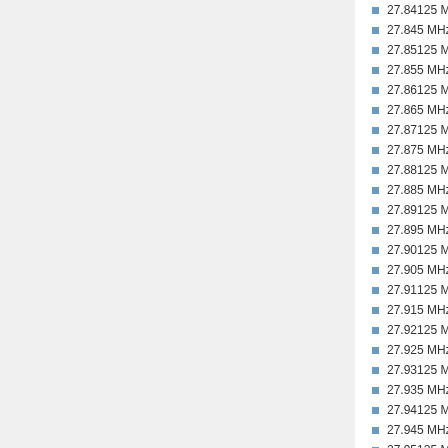27.84125 MHz - LW25
27.845 MHz - UW25
27.85125 MHz - LW26
27.855 MHz - UW26
27.86125 MHz - LW27
27.865 MHz - UW27
27.87125 MHz - LW28
27.875 MHz - UW28
27.88125 MHz - LW29
27.885 MHz - UW29
27.89125 MHz - LW30
27.895 MHz - UW30
27.90125 MHz - LW31
27.905 MHz - UW31
27.91125 MHz - LW32
27.915 MHz - UW32
27.92125 MHz - LW33
27.925 MHz - UW33
27.93125 MHz - LW34
27.935 MHz - UW34
27.94125 MHz - LW35
27.945 MHz - UW35
27.95125 MHz - LW35